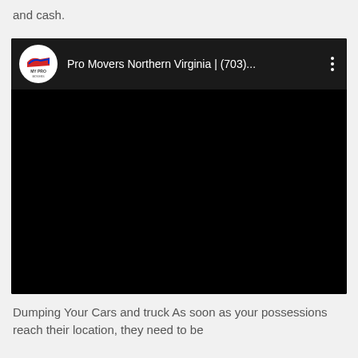and cash.
[Figure (screenshot): Embedded YouTube video player showing a channel called 'Pro Movers Northern Virginia | (703)...' with a black video frame and the channel logo visible in the top-left corner.]
Dumping Your Cars and truck As soon as your possessions reach their location, they need to be